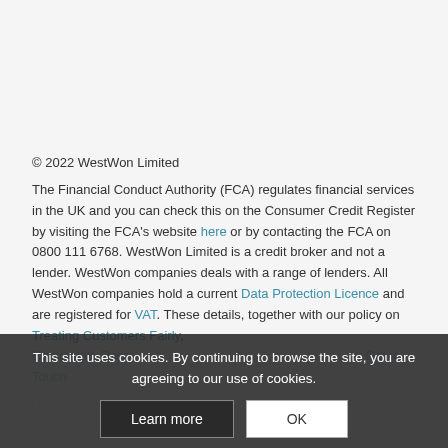© 2022 WestWon Limited
The Financial Conduct Authority (FCA) regulates financial services in the UK and you can check this on the Consumer Credit Register by visiting the FCA's website here or by contacting the FCA on 0800 111 6768. WestWon Limited is a credit broker and not a lender. WestWon companies deals with a range of lenders. All WestWon companies hold a current Data Protection Licence and are registered for VAT. These details, together with our policy on Treating Customers Fairly, Complaints Policy and address details are held under our Get In Touch page.
This website uses cookies to give you the most relevant experience. Continuing to use this site, you have accepted our policy.
This site uses cookies. By continuing to browse the site, you are agreeing to our use of cookies.